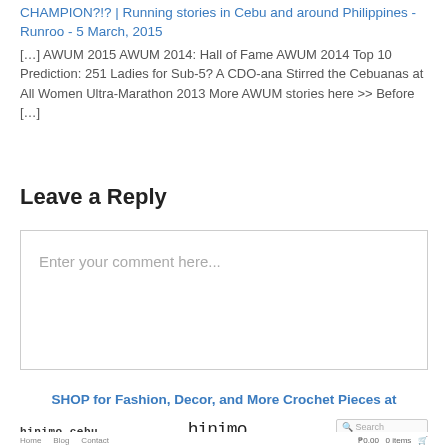CHAMPION?!? | Running stories in Cebu and around Philippines - Runroo - 5 March, 2015
[…] AWUM 2015 AWUM 2014: Hall of Fame AWUM 2014 Top 10 Prediction: 251 Ladies for Sub-5? A CDO-ana Stirred the Cebuanas at All Women Ultra-Marathon 2013 More AWUM stories here >> Before […]
Leave a Reply
Enter your comment here...
SHOP for Fashion, Decor, and More Crochet Pieces at hinimocebu.com
[Figure (screenshot): hinimo cebu website screenshot showing logo, navigation (Home, Blog, Contact), search box, and cart with ₱0.00 0 items]